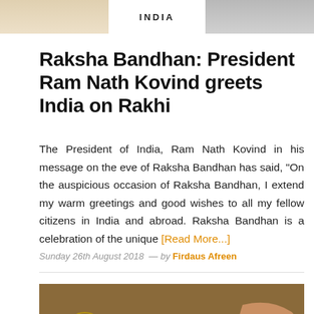[Figure (photo): Top banner with two cropped photos on either side and 'INDIA' text in the center]
Raksha Bandhan: President Ram Nath Kovind greets India on Rakhi
The President of India, Ram Nath Kovind in his message on the eve of Raksha Bandhan has said, “On the auspicious occasion of Raksha Bandhan, I extend my warm greetings and good wishes to all my fellow citizens in India and abroad. Raksha Bandhan is a celebration of the unique [Read More...]
Sunday 26th August 2018  —  by Firdaus Afreen
[Figure (photo): Close-up photo of hands performing Raksha Bandhan ritual with a thali, rakhi, and candle]